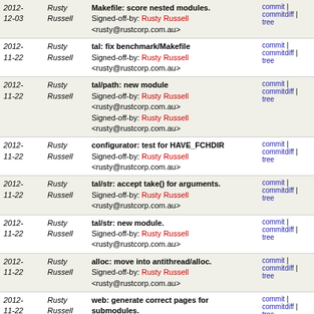| Date | Author | Message | Links |
| --- | --- | --- | --- |
| 2012-12-03 | Rusty Russell | Makefile: score nested modules.
Signed-off-by: Rusty Russell <rusty@rustcorp.com.au> | commit | commitdiff | tree |
| 2012-11-22 | Rusty Russell | tal: fix benchmark/Makefile
Signed-off-by: Rusty Russell <rusty@rustcorp.com.au> | commit | commitdiff | tree |
| 2012-11-22 | Rusty Russell | tal/path: new module
Signed-off-by: Rusty Russell <rusty@rustcorp.com.au>
Signed-off-by: Rusty Russell <rusty@rustcorp.com.au> | commit | commitdiff | tree |
| 2012-11-22 | Rusty Russell | configurator: test for HAVE_FCHDIR
Signed-off-by: Rusty Russell <rusty@rustcorp.com.au> | commit | commitdiff | tree |
| 2012-11-22 | Rusty Russell | tal/str: accept take() for arguments.
Signed-off-by: Rusty Russell <rusty@rustcorp.com.au> | commit | commitdiff | tree |
| 2012-11-22 | Rusty Russell | tal/str: new module.
Signed-off-by: Rusty Russell <rusty@rustcorp.com.au> | commit | commitdiff | tree |
| 2012-11-22 | Rusty Russell | alloc: move into antithread/alloc.
Signed-off-by: Rusty Russell <rusty@rustcorp.com.au> | commit | commitdiff | tree |
| 2012-11-22 | Rusty Russell | web: generate correct pages for submodules.
Signed-off-by: Rusty Russell <rusty@rustcorp.com.au> | commit | commitdiff | tree |